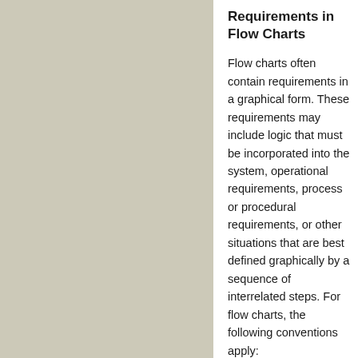[Figure (other): Gray-beige colored left panel background]
Requirements in Flow Charts
Flow charts often contain requirements in a graphical form. These requirements may include logic that must be incorporated into the system, operational requirements, process or procedural requirements, or other situations that are best defined graphically by a sequence of interrelated steps. For flow charts, the following conventions apply:
Invoke flow charts in